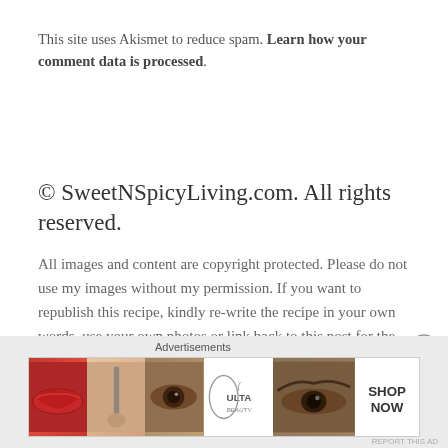This site uses Akismet to reduce spam. Learn how your comment data is processed.
© SweetNSpicyLiving.com. All rights reserved.
All images and content are copyright protected. Please do not use my images without my permission. If you want to republish this recipe, kindly re-write the recipe in your own words, use your own photos or link back to this post for the recipe. Thank You!
[Figure (screenshot): Ulta Beauty advertisement banner with beauty product images (lips, brush, eye, Ulta logo, eyebrow, Shop Now button)]